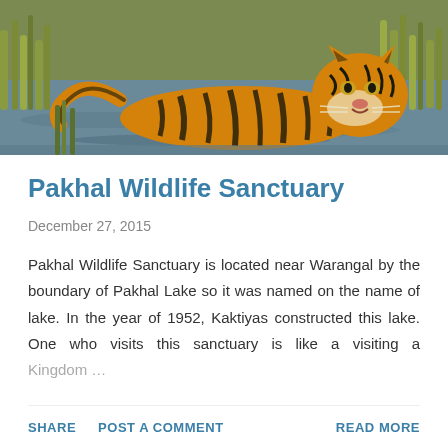[Figure (photo): A tiger lying in shallow water surrounded by tall grass and reeds, viewed from a slightly elevated angle. The tiger has orange and black stripes and is looking toward the camera.]
Pakhal Wildlife Sanctuary
December 27, 2015
Pakhal Wildlife Sanctuary is located near Warangal by the boundary of Pakhal Lake so it was named on the name of lake. In the year of 1952, Kaktiyas constructed this lake. One who visits this sanctuary is like a visiting a Kingdom ...
SHARE   POST A COMMENT   READ MORE